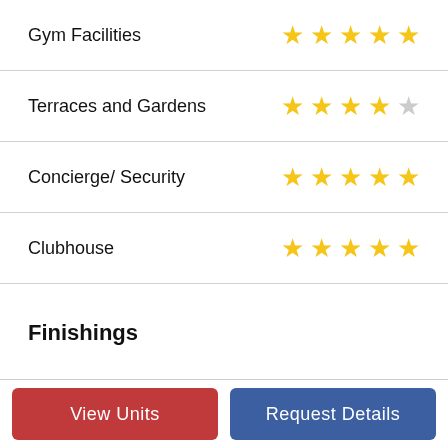Gym Facilities — 5 stars
Terraces and Gardens — 4 stars
Concierge/ Security — 5 stars
Clubhouse — 5 stars
Finishings
Kitchen — 4 stars
Bathroom — 4 stars
View Units | Request Details